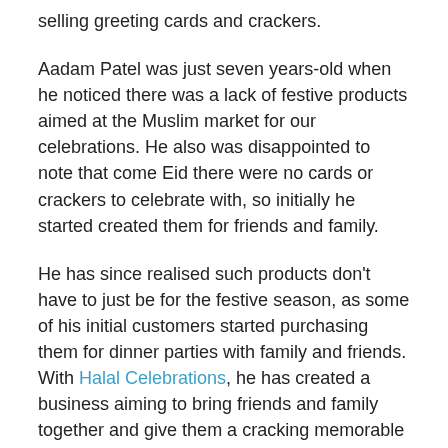selling greeting cards and crackers.
Aadam Patel was just seven years-old when he noticed there was a lack of festive products aimed at the Muslim market for our celebrations. He also was disappointed to note that come Eid there were no cards or crackers to celebrate with, so initially he started created them for friends and family.
He has since realised such products don't have to just be for the festive season, as some of his initial customers started purchasing them for dinner parties with family and friends. With Halal Celebrations, he has created a business aiming to bring friends and family together and give them a cracking memorable time.
Patel has been home-schooled for the past two years in order to help accelerate his studying. The structure also has the benefit of allowing him to focus on Halal Celebrations. After hearing about accelerator programme Entrepreneurial Spark on the radio, Patel applied for a place at the inaugural Brighton intake and won a spot alongside 79 other entrepreneurs.